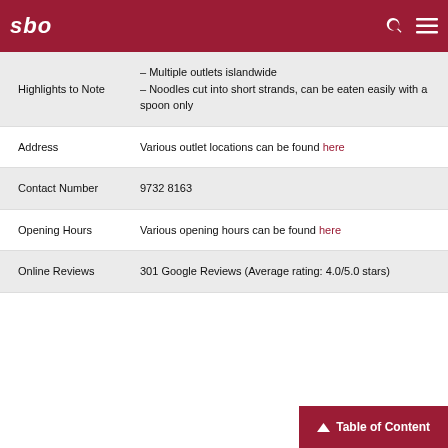sbo
| Field | Value |
| --- | --- |
| Highlights to Note | – Multiple outlets islandwide
– Noodles cut into short strands, can be eaten easily with a spoon only |
| Address | Various outlet locations can be found here |
| Contact Number | 9732 8163 |
| Opening Hours | Various opening hours can be found here |
| Online Reviews | 301 Google Reviews (Average rating: 4.0/5.0 stars) |
Table of Content